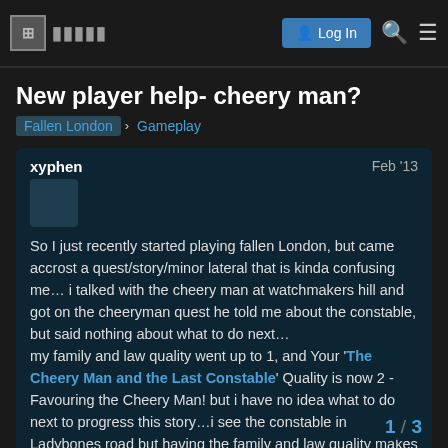Log In [search] [menu]
New player help- cheery man?
Fallen London  Gameplay
xyphen  Feb '13
So I just recently started playing fallen London, but came accrost a quest/story/minor lateral that is kinda confusing me… i talked with the cheery man at watchmakers hill and got on the cheeryman quest he told me about the constable, but said nothing about what to do next…
my family and law quality went up to 1, and Your 'The Cheery Man and the Last Constable' Quality is now 2 - Favouring the Cheery Man! but i have no idea what to do next to progress this story…i see the constable in Ladybones road but having the family and law quality makes it so that i ca... interact with her. Will something just pop up later? or did i m...
Anyways sorry if this post out of order or i...
1 / 3